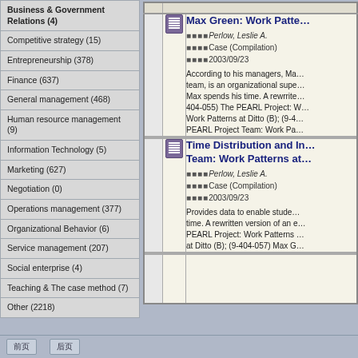Accounting (24)
Business & Government Relations (4)
Competitive strategy (15)
Entrepreneurship (378)
Finance (637)
General management (468)
Human resource management (9)
Information Technology (5)
Marketing (627)
Negotiation (0)
Operations management (377)
Organizational Behavior (6)
Service management (207)
Social enterprise (4)
Teaching & The case method (7)
Other (2218)
Max Green: Work Patterns at Ditto
Perlow, Leslie A.
Case (Compilation)
2003/09/23
According to his managers, Max Green, the leader of Ditto's PEARL team, is an organizational superstar. This case describes where Max spends his time. A rewritten version of an earlier case. (9-404-055) The PEARL Project: Work Patterns at Ditto (A); (9-404-056) Work Patterns at Ditto (B); (9-404-057) Max Green: PEARL Project Team: Work Pa...
Time Distribution and Individual vs. Team: Work Patterns at...
Perlow, Leslie A.
Case (Compilation)
2003/09/23
Provides data to enable students to examine how Max spends his time. A rewritten version of an earlier case. (9-404-055) The PEARL Project: Work Patterns at Ditto (A); (9-404-056) Work Patterns at Ditto (B); (9-404-057) Max G...
前页    后页